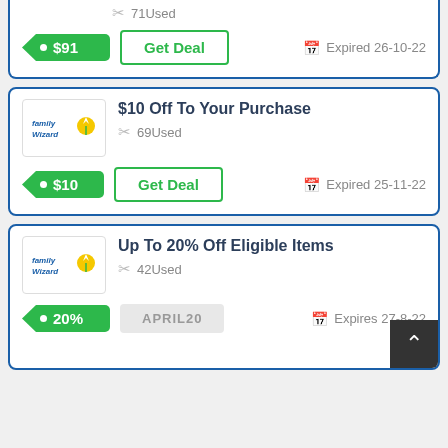[Figure (other): Coupon card partial: 71 Used, $91 price tag, Get Deal button, Expired 26-10-22]
71 Used
• $91
Get Deal
Expired 26-10-22
[Figure (logo): Family Wizard logo]
$10 Off To Your Purchase
69 Used
• $10
Get Deal
Expired 25-11-22
[Figure (logo): Family Wizard logo]
Up To 20% Off Eligible Items
42 Used
• 20%
APRIL20
Expires 27-8-22